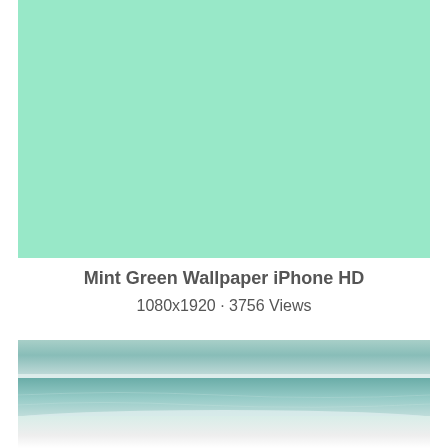[Figure (illustration): Solid mint green rectangle wallpaper background]
Mint Green Wallpaper iPhone HD
1080x1920 · 3756 Views
[Figure (photo): Beach scene with aqua/teal ocean water meeting white sandy shore, softly blurred, fading to white at the bottom]